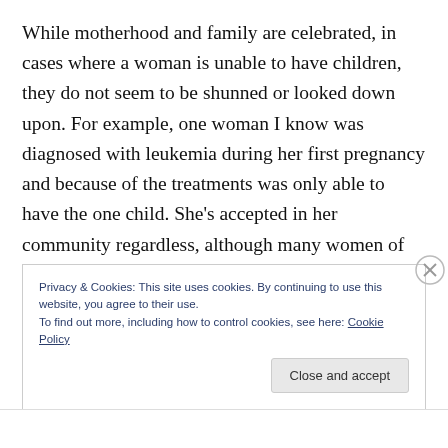While motherhood and family are celebrated, in cases where a woman is unable to have children, they do not seem to be shunned or looked down upon. For example, one woman I know was diagnosed with leukemia during her first pregnancy and because of the treatments was only able to have the one child. She's accepted in her community regardless, although many women of this faith do grieve deeply when their childbearing years come to an end, even after having as many as 13 children, because
Privacy & Cookies: This site uses cookies. By continuing to use this website, you agree to their use.
To find out more, including how to control cookies, see here: Cookie Policy
Close and accept